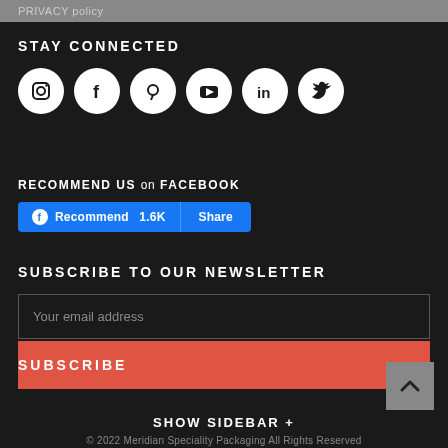PRIVACY policy
STAY CONNECTED
[Figure (infographic): Six white social media icons in circles: Instagram, Facebook, Pinterest, YouTube, LinkedIn, Twitter]
RECOMMEND US on FACEBOOK
[Figure (infographic): Facebook Recommend 1.6K button and Share button in blue]
SUBSCRIBE TO OUR NEWSLETTER
[Figure (infographic): Email input field with placeholder 'Your email address' and red SUBSCRIBE button]
[Figure (infographic): Back to top arrow button in grey square]
SHOW SIDEBAR +
© 2022 Meridian Speciality Packaging All Rights Reserved